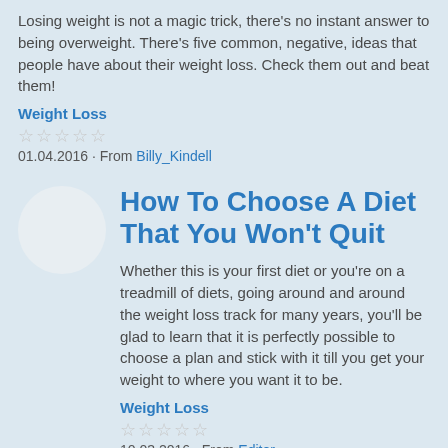Losing weight is not a magic trick, there's no instant answer to being overweight. There's five common, negative, ideas that people have about their weight loss. Check them out and beat them!
Weight Loss
01.04.2016 · From Billy_Kindell
How To Choose A Diet That You Won't Quit
Whether this is your first diet or you're on a treadmill of diets, going around and around the weight loss track for many years, you'll be glad to learn that it is perfectly possible to choose a plan and stick with it till you get your weight to where you want it to be.
Weight Loss
10.03.2016 · From Editor
How To Eat Well: The Secrets To Good Nutrition